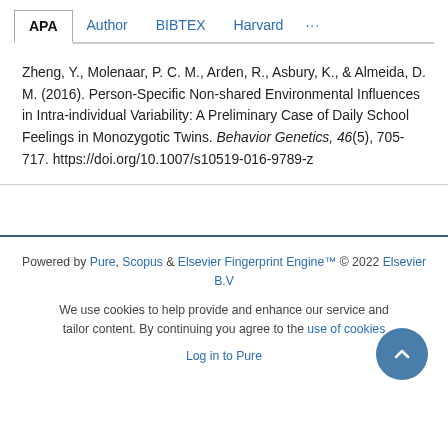APA | Author | BIBTEX | Harvard | ...
Zheng, Y., Molenaar, P. C. M., Arden, R., Asbury, K., & Almeida, D. M. (2016). Person-Specific Non-shared Environmental Influences in Intra-individual Variability: A Preliminary Case of Daily School Feelings in Monozygotic Twins. Behavior Genetics, 46(5), 705-717. https://doi.org/10.1007/s10519-016-9789-z
Powered by Pure, Scopus & Elsevier Fingerprint Engine™ © 2022 Elsevier B.V
We use cookies to help provide and enhance our service and tailor content. By continuing you agree to the use of cookies
Log in to Pure